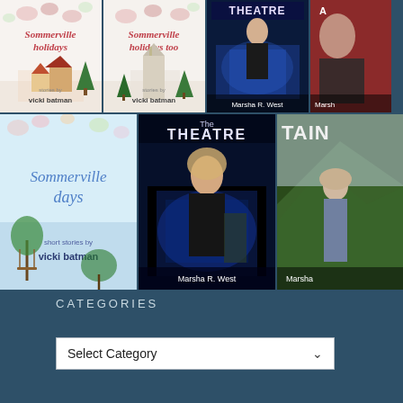[Figure (photo): Grid of book covers: top row shows two 'Sommerville Holidays' books by Vicki Batman, one 'The Theatre' by Marsha R. West, and one partially visible book. Bottom row shows 'Sommerville Days' by Vicki Batman, 'The Theatre' by Marsha R. West, and a partially visible book titled 'TAIN' by Marsha.]
CATEGORIES
Select Category